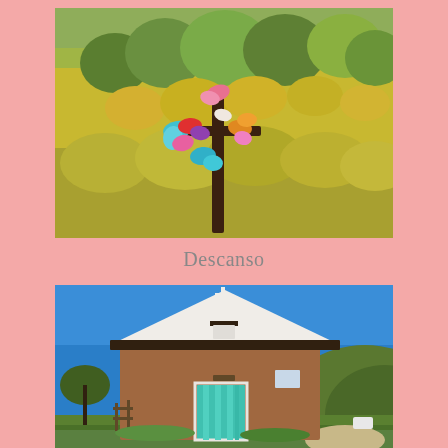[Figure (photo): A wooden cross decorated with colorful ribbons and flowers, set against a hillside covered with yellow and green shrubs and trees. This appears to be a descanso (roadside memorial).]
Descanso
[Figure (photo): A small adobe-style church or chapel building with a white peaked roof and a cross on top, featuring a turquoise/teal door, set against a bright blue sky with hills in the background.]